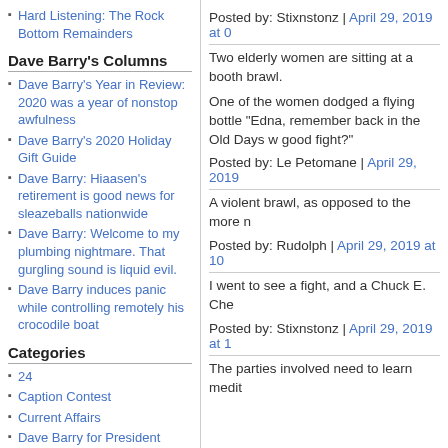Hard Listening: The Rock Bottom Remainders
Dave Barry's Columns
Dave Barry's Year in Review: 2020 was a year of nonstop awfulness
Dave Barry's 2020 Holiday Gift Guide
Dave Barry: Hiaasen's retirement is good news for sleazeballs nationwide
Dave Barry: Welcome to my plumbing nightmare. That gurgling sound is liquid evil.
Dave Barry induces panic while controlling remotely his crocodile boat
Categories
24
Caption Contest
Current Affairs
Dave Barry for President
Do Not Click This Link
Posted by: Stixnstonz | April 29, 2019 at 0
Two elderly women are sitting at a booth brawl.
One of the women dodged a flying bottle "Edna, remember back in the Old Days w good fight?"
Posted by: Le Petomane | April 29, 2019
A violent brawl, as opposed to the more n
Posted by: Rudolph | April 29, 2019 at 10
I went to see a fight, and a Chuck E. Che
Posted by: Stixnstonz | April 29, 2019 at 1
The parties involved need to learn medit